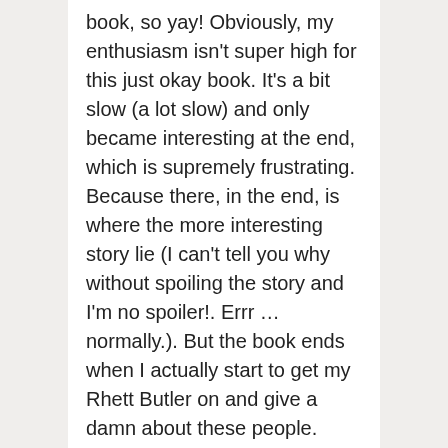book, so yay! Obviously, my enthusiasm isn't super high for this just okay book. It's a bit slow (a lot slow) and only became interesting at the end, which is supremely frustrating. Because there, in the end, is where the more interesting story lie (I can't tell you why without spoiling the story and I'm no spoiler!. Errr … normally.). But the book ends when I actually start to get my Rhett Butler on and give a damn about these people.
Yes, I know Rhett didn't give a damn in